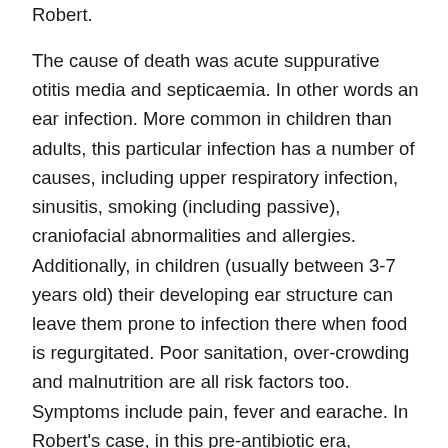Robert.
The cause of death was acute suppurative otitis media and septicaemia. In other words an ear infection. More common in children than adults, this particular infection has a number of causes, including upper respiratory infection, sinusitis, smoking (including passive), craniofacial abnormalities and allergies. Additionally, in children (usually between 3-7 years old) their developing ear structure can leave them prone to infection there when food is regurgitated. Poor sanitation, over-crowding and malnutrition are all risk factors too. Symptoms include pain, fever and earache. In Robert's case, in this pre-antibiotic era, complications did ensue, resulting in hospitalisation and death. He succumbed to septicaemia on 18 November 1916 at St Bartholomew's Hospital (Barts), London. He was buried at Islington Cemetery on